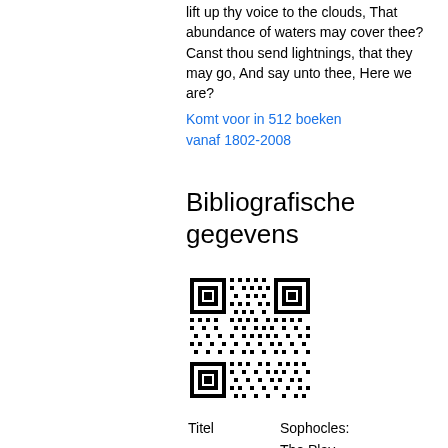lift up thy voice to the clouds, That abundance of waters may cover thee? Canst thou send lightnings, that they may go, And say unto thee, Here we are?
Komt voor in 512 boeken vanaf 1802-2008
Bibliografische gegevens
[Figure (other): QR code for bibliographic information]
| Titel |
| --- |
| Sophocles: | The Play... |